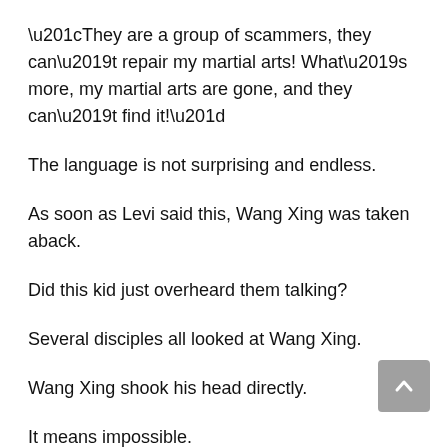“They are a group of scammers, they can’t repair my martial arts! What’s more, my martial arts are gone, and they can’t find it!”
The language is not surprising and endless.
As soon as Levi said this, Wang Xing was taken aback.
Did this kid just overheard them talking?
Several disciples all looked at Wang Xing.
Wang Xing shook his head directly.
It means impossible.